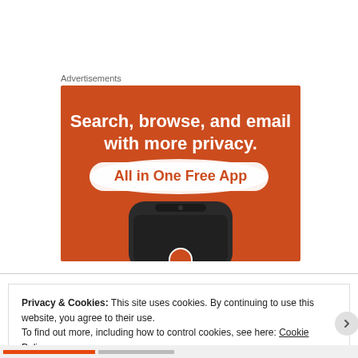Advertisements
[Figure (illustration): Advertisement banner with orange background showing text 'Search, browse, and email with more privacy. All in One Free App' and a smartphone image at the bottom.]
Privacy & Cookies: This site uses cookies. By continuing to use this website, you agree to their use.
To find out more, including how to control cookies, see here: Cookie Policy
Close and accept